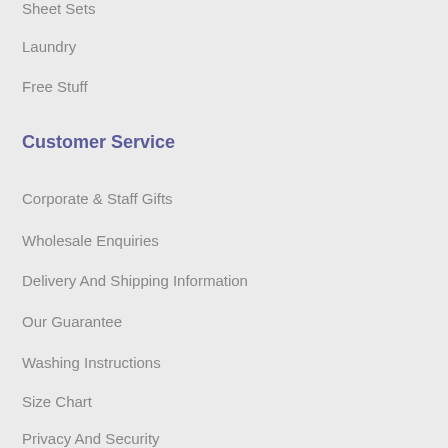Sheet Sets
Laundry
Free Stuff
Customer Service
Corporate & Staff Gifts
Wholesale Enquiries
Delivery And Shipping Information
Our Guarantee
Washing Instructions
Size Chart
Privacy And Security